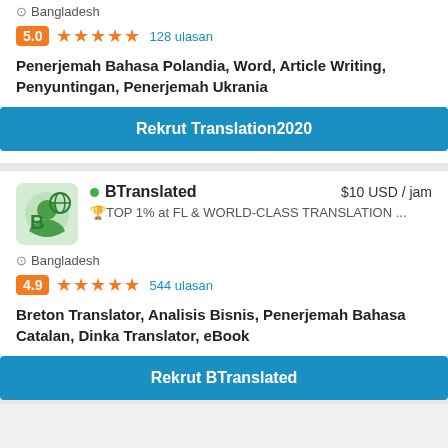Bangladesh
5.0 ★★★★★ 128 ulasan
Penerjemah Bahasa Polandia, Word, Article Writing, Penyuntingan, Penerjemah Ukrania
Rekrut Translation2020
[Figure (logo): BTranslated logo - green rounded square with stylized B and globe icon]
BTranslated $10 USD / jam
🏆TOP 1% at FL & WORLD-CLASS TRANSLATION ...
Bangladesh
4.9 ★★★★★ 544 ulasan
Breton Translator, Analisis Bisnis, Penerjemah Bahasa Catalan, Dinka Translator, eBook
Rekrut BTranslated